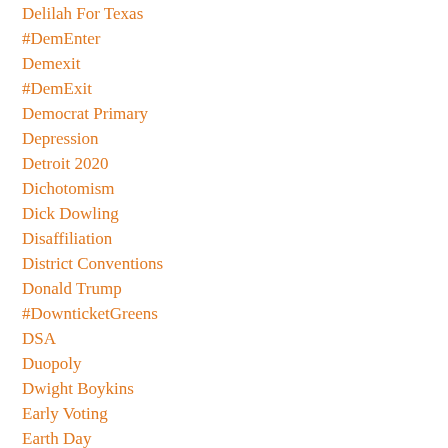Delilah For Texas
#DemEnter
Demexit
#DemExit
Democrat Primary
Depression
Detroit 2020
Dichotomism
Dick Dowling
Disaffiliation
District Conventions
Donald Trump
#DownticketGreens
DSA
Duopoly
Dwight Boykins
Early Voting
Earth Day
Earthworm
Eastern Daylight